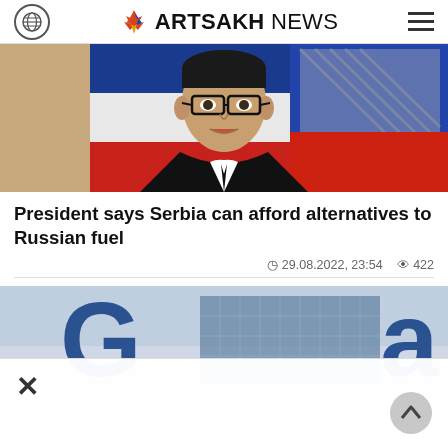ARTSAKH NEWS
[Figure (photo): Close-up photo of a man in a black suit and glasses speaking, with Serbian flag in the background (blue, white, red stripes)]
President says Serbia can afford alternatives to Russian fuel
29.08.2022, 23:54  422
[Figure (photo): Partial view of a building with large blue corporate letters/logo, likely Gazprom or similar energy company signage]